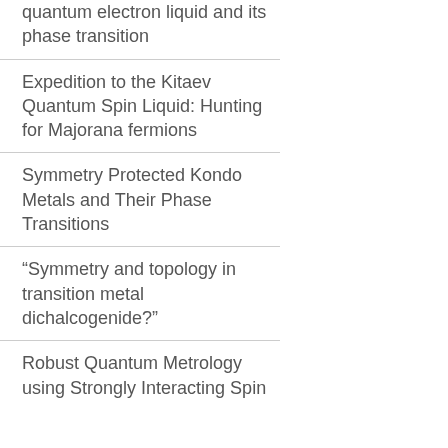quantum electron liquid and its phase transition
Expedition to the Kitaev Quantum Spin Liquid: Hunting for Majorana fermions
Symmetry Protected Kondo Metals and Their Phase Transitions
“Symmetry and topology in transition metal dichalcogenide?”
Robust Quantum Metrology using Strongly Interacting Spin